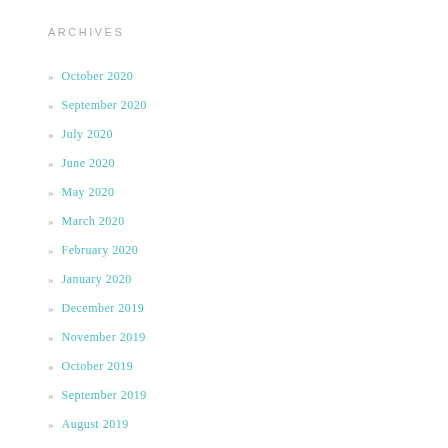ARCHIVES
» October 2020
» September 2020
» July 2020
» June 2020
» May 2020
» March 2020
» February 2020
» January 2020
» December 2019
» November 2019
» October 2019
» September 2019
» August 2019